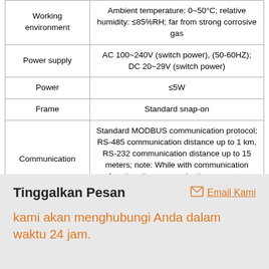|  |  |
| --- | --- |
| Working environment | Ambient temperature: 0~50°C; relative humidity: ≤85%RH; far from strong corrosive gas |
| Power supply | AC 100~240V (switch power), (50-60HZ); DC 20~29V (switch power) |
| Power | ≤5W |
| Frame | Standard snap-on |
| Communication | Standard MODBUS communication protocol; RS-485 communication distance up to 1 km, RS-232 communication distance up to 15 meters; note: While with communication function, the communication converter should be an active one. |
Tinggalkan Pesan
Email Kami
kami akan menghubungi Anda dalam waktu 24 jam.